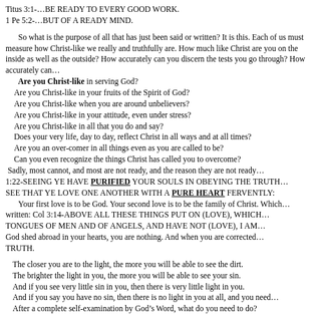Titus 3:1-…BE READY TO EVERY GOOD WORK.
1 Pe 5:2-…BUT OF A READY MIND.
So what is the purpose of all that has just been said or written? It is this. Each of us must measure how Christ-like we really and truthfully are. How much like Christ are you on the inside as well as the outside? How accurately can you discern the tests you go through? How accurately can you…
Are you Christ-like in serving God?
Are you Christ-like in your fruits of the Spirit of God?
Are you Christ-like when you are around unbelievers?
Are you Christ-like in your attitude, even under stress?
Are you Christ-like in all that you do and say?
Does your very life, day to day, reflect Christ in all ways and at all times?
Are you an over-comer in all things even as you are called to be?
Can you even recognize the things Christ has called you to overcome?
Sadly, most cannot, and most are not ready, and the reason they are not ready is found in 1 Pe 1:22-SEEING YE HAVE PURIFIED YOUR SOULS IN OBEYING THE TRUTH… SEE THAT YE LOVE ONE ANOTHER WITH A PURE HEART FERVENTLY:
Your first love is to be God. Your second love is to be the family of Christ. Which also has written: Col 3:14-ABOVE ALL THESE THINGS PUT ON (LOVE), WHICH… THOUGH I SPEAK WITH TONGUES OF MEN AND OF ANGELS, AND HAVE NOT (LOVE), I AM NOTHING. Without the love of God shed abroad in your hearts, you are nothing. And when you are corrected, you resist the TRUTH.
The closer you are to the light, the more you will be able to see the dirt.
The brighter the light in you, the more you will be able to see your sin.
And if you see very little sin in you, then there is very little light in you.
And if you say you have no sin, then there is no light in you at all, and you must be…
After a complete self-examination by God's Word, what do you need to do?